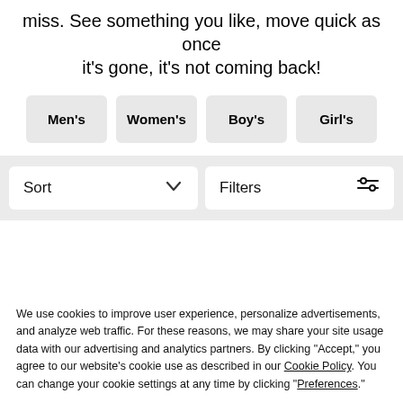miss. See something you like, move quick as once it's gone, it's not coming back!
Men's
Women's
Boy's
Girl's
[Figure (screenshot): Sort dropdown and Filters button bar]
148 of 1146 styles
We use cookies to improve user experience, personalize advertisements, and analyze web traffic. For these reasons, we may share your site usage data with our advertising and analytics partners. By clicking "Accept," you agree to our website's cookie use as described in our Cookie Policy. You can change your cookie settings at any time by clicking "Preferences."
Decline
Accept